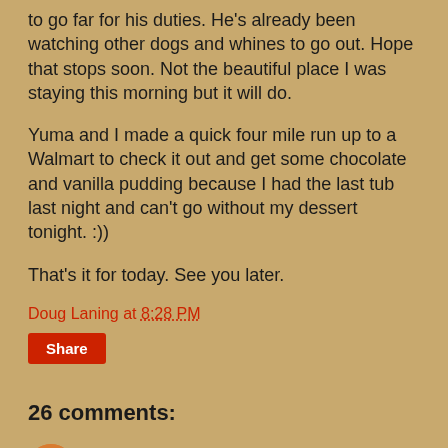to go far for his duties.  He's already been watching other dogs and whines to go out.  Hope that stops soon.  Not the beautiful place I was staying this morning but it will do.
Yuma and I made a quick four mile run up to a Walmart to check it out and get some chocolate and vanilla pudding because I had the last tub last night and can't go without my dessert tonight. :))
That's it for today.  See you later.
Doug Laning at 8:28 PM
Share
26 comments:
Lorne Green (A Place Called Away) April 6, 2020 at 8:50 PM